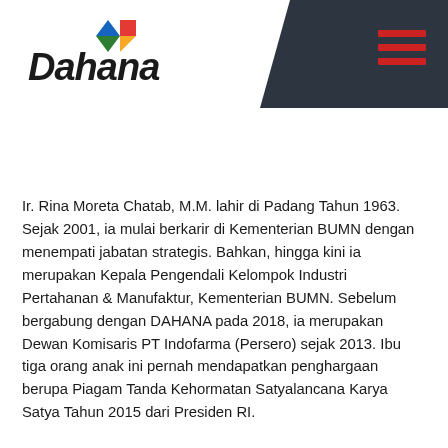[Figure (logo): Dahana company logo with colorful geometric shapes above the text 'Dahana' in bold italic font]
Ir. Rina Moreta Chatab, M.M. lahir di Padang Tahun 1963. Sejak 2001, ia mulai berkarir di Kementerian BUMN dengan menempati jabatan strategis. Bahkan, hingga kini ia merupakan Kepala Pengendali Kelompok Industri Pertahanan & Manufaktur, Kementerian BUMN. Sebelum bergabung dengan DAHANA pada 2018, ia merupakan Dewan Komisaris PT Indofarma (Persero) sejak 2013. Ibu tiga orang anak ini pernah mendapatkan penghargaan berupa Piagam Tanda Kehormatan Satyalancana Karya Satya Tahun 2015 dari Presiden RI.